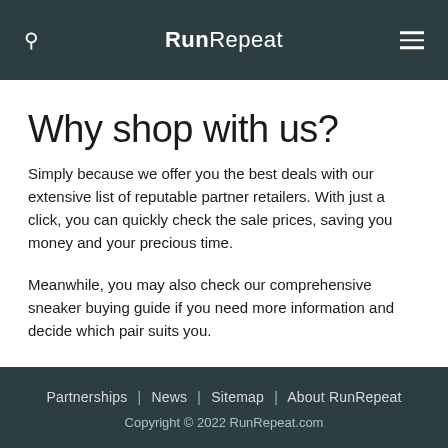RunRepeat
Why shop with us?
Simply because we offer you the best deals with our extensive list of reputable partner retailers. With just a click, you can quickly check the sale prices, saving you money and your precious time.
Meanwhile, you may also check our comprehensive sneaker buying guide if you need more information and decide which pair suits you.
Partnerships | News | Sitemap | About RunRepeat
Copyright © 2022 RunRepeat.com